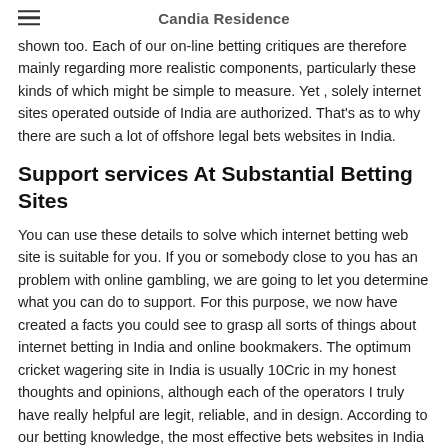Candia Residence
shown too. Each of our on-line betting critiques are therefore mainly regarding more realistic components, particularly these kinds of which might be simple to measure. Yet , solely internet sites operated outside of India are authorized. That's as to why there are such a lot of offshore legal bets websites in India.
Support services At Substantial Betting Sites
You can use these details to solve which internet betting web site is suitable for you. If you or somebody close to you has an problem with online gambling, we are going to let you determine what you can do to support. For this purpose, we now have created a facts you could see to grasp all sorts of things about internet betting in India and online bookmakers. The optimum cricket wagering site in India is usually 10Cric in my honest thoughts and opinions, although each of the operators I truly have really helpful are legit, reliable, and in design. According to our betting knowledge, the most effective bets websites in India